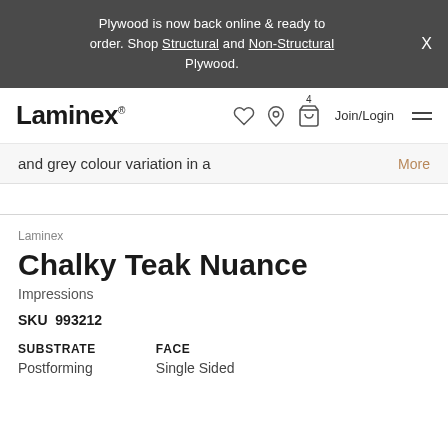Plywood is now back online & ready to order. Shop Structural and Non-Structural Plywood.
[Figure (logo): Laminex brand logo with navigation icons (heart, location pin, basket with count 4), Join/Login text, and hamburger menu]
and grey colour variation in a
More
Laminex
Chalky Teak Nuance
Impressions
SKU  993212
| SUBSTRATE | FACE |
| --- | --- |
| Postforming | Single Sided |